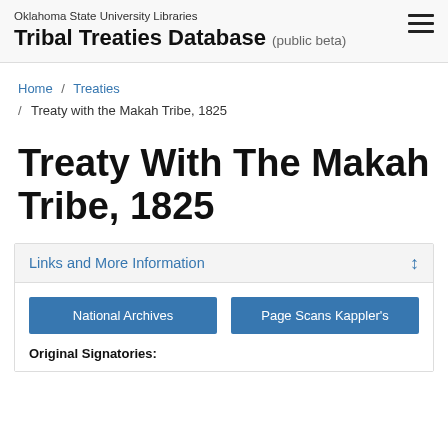Oklahoma State University Libraries Tribal Treaties Database (public beta)
Home / Treaties / Treaty with the Makah Tribe, 1825
Treaty With The Makah Tribe, 1825
Links and More Information
National Archives
Page Scans Kappler's
Original Signatories: